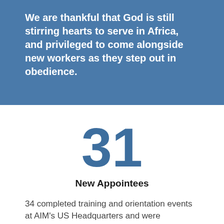We are thankful that God is still stirring hearts to serve in Africa, and privileged to come alongside new workers as they step out in obedience.
31
New Appointees
34 completed training and orientation events at AIM's US Headquarters and were appointed